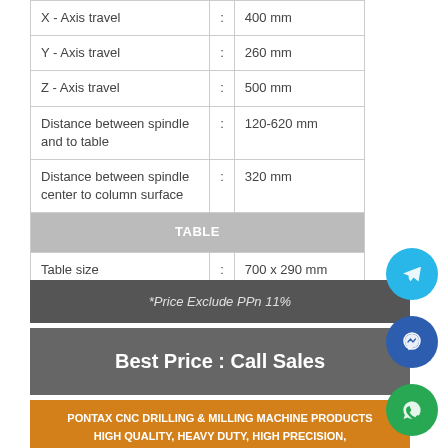| Specification | : | Value |
| --- | --- | --- |
| X - Axis travel | : | 400 mm |
| Y - Axis travel | : | 260 mm |
| Z - Axis travel | : | 500 mm |
| Distance between spindle and to table | : | 120-620 mm |
| Distance between spindle center to column surface | : | 320 mm |
| TABLE |  |  |
| Table size | : | 700 x 290 mm |
*Price Exclude PPn 11%
Best Price : Call Sales
PONTAX CNC DRILLING & MILLING MACHINE PRODUCTS HIGH QUALITY, HEAVY DUTY, HIGH PRECISION, RELIABLE MACHINERY